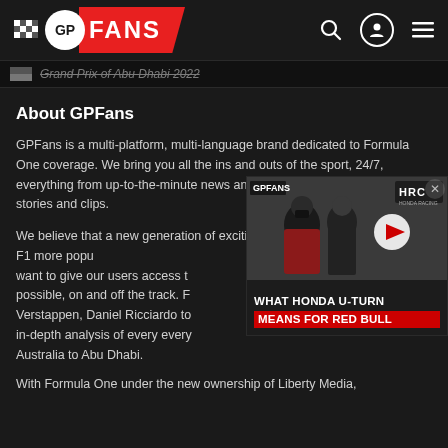GP FANS
Grand Prix of Abu Dhabi 2022
About GPFans
GPFans is a multi-platform, multi-language brand dedicated to Formula One coverage. We bring you all the ins and outs of the sport, 24/7, everything from up-to-the-minute news and features to the latest viral stories and clips.
We believe that a new generation of exciting, outspoken drivers will make F1 more popu[lar than ever and we] want to give our users access t[o as much content as] possible, on and off the track. F[rom Lewis Hamilton and] Verstappen, Daniel Ricciardo to[...] in-depth analysis of every every[...] Australia to Abu Dhabi.
[Figure (screenshot): Video thumbnail showing people in racing paddock attire with HRC branding overlay and title text: WHAT HONDA U-TURN MEANS FOR RED BULL]
With Formula One under the new ownership of Liberty Media,